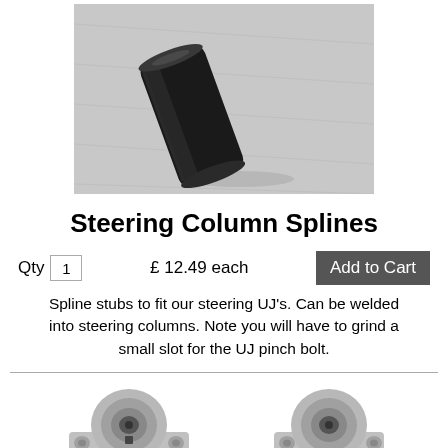[Figure (photo): Photo of a black cylindrical steering column spline stub on a grey surface]
Steering Column Splines
Qty  1    £ 12.49 each    Add to Cart
Spline stubs to fit our steering UJ's. Can be welded into steering columns. Note you will have to grind a small slot for the UJ pinch bolt.
[Figure (photo): Photo of two grey mechanical bearing/pillow block components at the bottom of the page]